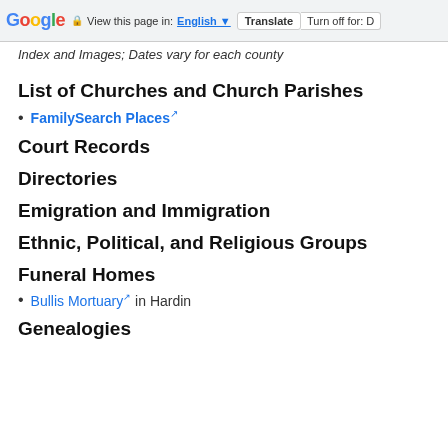Google | View this page in: English | Translate | Turn off for: D
Index and Images; Dates vary for each county
List of Churches and Church Parishes
FamilySearch Places [external link]
Court Records
Directories
Emigration and Immigration
Ethnic, Political, and Religious Groups
Funeral Homes
Bullis Mortuary [external link] in Hardin
Genealogies